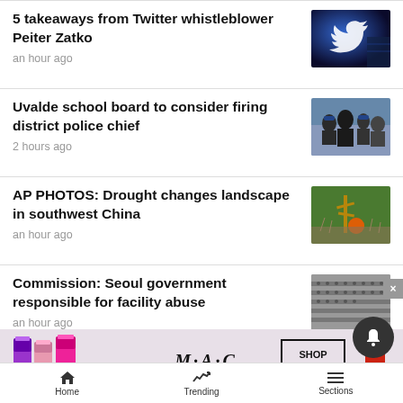5 takeaways from Twitter whistleblower Peiter Zatko
an hour ago
Uvalde school board to consider firing district police chief
2 hours ago
AP PHOTOS: Drought changes landscape in southwest China
an hour ago
Commission: Seoul government responsible for facility abuse
an hour ago
[Figure (screenshot): MAC cosmetics advertisement banner with lipsticks, MAC logo, and SHOP NOW button]
One...
eva...
Home   Trending   Sections